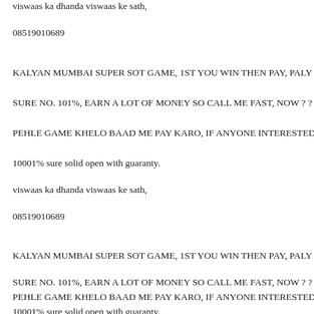viswaas ka dhanda viswaas ke sath,
08519010689
KALYAN MUMBAI SUPER SOT GAME, 1ST YOU WIN THEN PAY, PALY MA
SURE NO. 101%, EARN A LOT OF MONEY SO CALL ME FAST, NOW ? ?
PEHLE GAME KHELO BAAD ME PAY KARO, IF ANYONE INTERESTED CA
10001% sure solid open with guaranty.
viswaas ka dhanda viswaas ke sath,
08519010689
KALYAN MUMBAI SUPER SOT GAME, 1ST YOU WIN THEN PAY, PALY MA
SURE NO. 101%, EARN A LOT OF MONEY SO CALL ME FAST, NOW ? ?
PEHLE GAME KHELO BAAD ME PAY KARO, IF ANYONE INTERESTED CA
10001% sure solid open with guaranty.